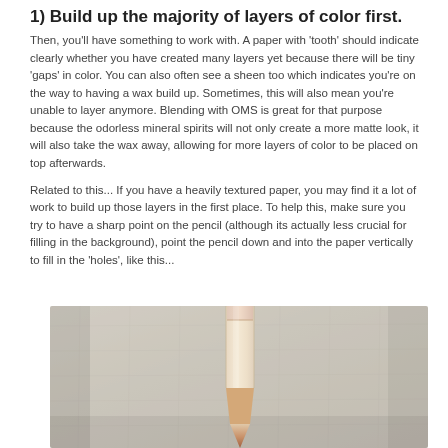1) Build up the majority of layers of color first.
Then, you'll have something to work with. A paper with 'tooth' should indicate clearly whether you have created many layers yet because there will be tiny 'gaps' in color. You can also often see a sheen too which indicates you're on the way to having a wax build up. Sometimes, this will also mean you're unable to layer anymore. Blending with OMS is great for that purpose because the odorless mineral spirits will not only create a more matte look, it will also take the wax away, allowing for more layers of color to be placed on top afterwards.
Related to this... If you have a heavily textured paper, you may find it a lot of work to build up those layers in the first place. To help this, make sure you try to have a sharp point on the pencil (although its actually less crucial for filling in the background), point the pencil down and into the paper vertically to fill in the 'holes', like this...
[Figure (photo): A photograph showing a colored pencil (pale yellow/cream colored) being held vertically and pointing down onto a heavily textured paper surface, demonstrating the technique of filling in the 'holes' of textured paper.]